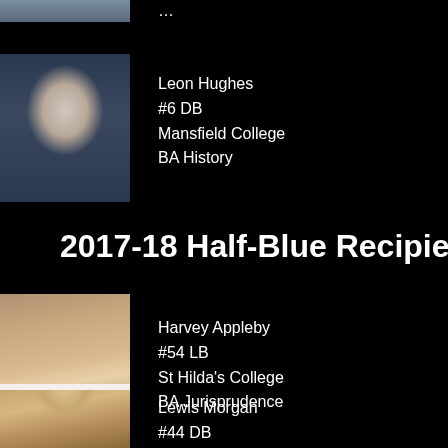[Figure (photo): Partial cropped photo of a person at the top of the page]
Leon Hughes
#6 DB
Mansfield College
BA History
[Figure (photo): Photo of Leon Hughes]
2017-18 Half-Blue Recipients
[Figure (photo): Photo of Harvey Appleby holding Oxford jersey]
Harvey Appleby
#54 LB
St Hilda's College
BA Jurisprudence
[Figure (photo): Partial photo of Lewis Morgan at the bottom of the page]
Lewis Morgan
#44 DB